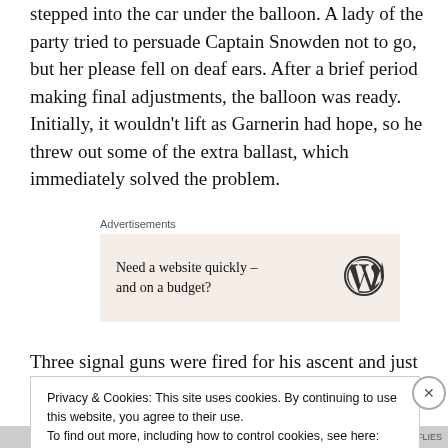stepped into the car under the balloon. A lady of the party tried to persuade Captain Snowden not to go, but her please fell on deaf ears. After a brief period making final adjustments, the balloon was ready. Initially, it wouldn't lift as Garnerin had hope, so he threw out some of the extra ballast, which immediately solved the problem.
Advertisements
[Figure (other): WordPress advertisement box with text 'Need a website quickly – and on a budget?' and WordPress logo]
Three signal guns were fired for his ascent and just as the
Privacy & Cookies: This site uses cookies. By continuing to use this website, you agree to their use.
To find out more, including how to control cookies, see here: Cookie Policy
Close and accept